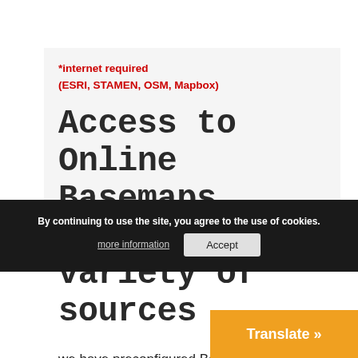*internet required
(ESRI, STAMEN, OSM, Mapbox)
Access to Online Basemaps from a variety of sources
we have preconfigured Basecamps to use when
you have
internet access
By continuing to use the site, you agree to the use of cookies.
more information
Accept
Translate »